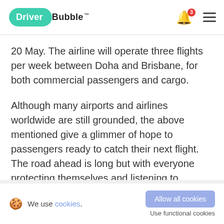DriverBubble™
20 May. The airline will operate three flights per week between Doha and Brisbane, for both commercial passengers and cargo.
Although many airports and airlines worldwide are still grounded, the above mentioned give a glimmer of hope to passengers ready to catch their next flight. The road ahead is long but with everyone protecting themselves and listening to authorities, we will come out stronger than before.
We use cookies. Allow all cookies Use functional cookies